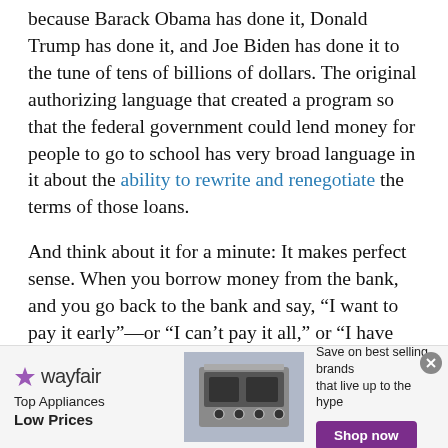because Barack Obama has done it, Donald Trump has done it, and Joe Biden has done it to the tune of tens of billions of dollars. The original authorizing language that created a program so that the federal government could lend money for people to go to school has very broad language in it about the ability to rewrite and renegotiate the terms of those loans.

And think about it for a minute: It makes perfect sense. When you borrow money from the bank, and you go back to the bank and say, “I want to pay it early”—or “I can’t pay it all,” or “I have my toes on the threshold of bankruptcy”—the bank, your creditor, always has the power to say, “Okay, here’s
[Figure (other): Wayfair advertisement banner. Logo on left with purple star icon and 'wayfair' wordmark. Text 'Top Appliances Low Prices'. Center shows image of a kitchen range/stove appliance. Right side text 'Save on best selling brands that live up to the hype' with purple 'Shop now' button. Close button (x) in top right corner.]